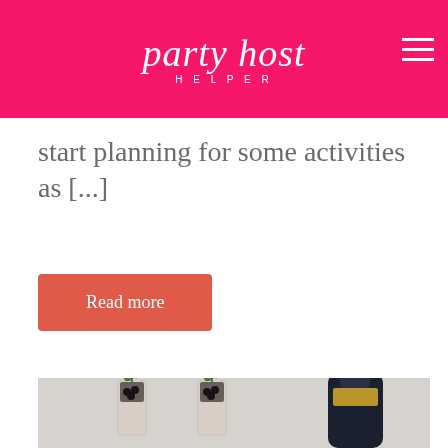party host helper
start planning for some activities as [...]
Read more
[Figure (photo): Champagne flutes garnished with blackberries and fresh thyme sprigs, alongside a dark champagne bottle with gold foil, set against a light gray background.]